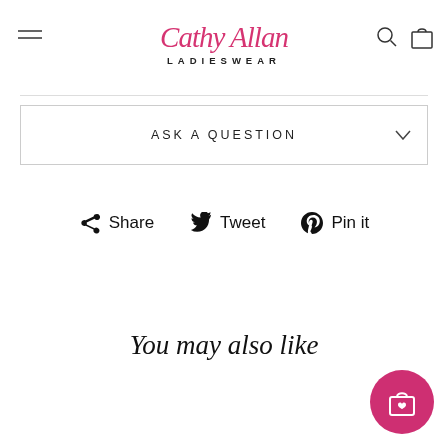Cathy Allan LADIESWEAR
ASK A QUESTION
Share  Tweet  Pin it
You may also like